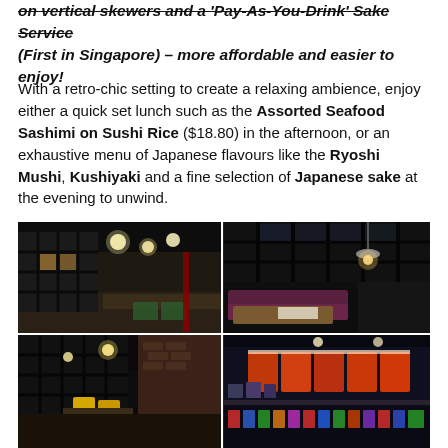on vertical skewers and a 'Pay-As-You-Drink' Sake Service (First in Singapore) – more affordable and easier to enjoy!
With a retro-chic setting to create a relaxing ambience, enjoy either a quick set lunch such as the Assorted Seafood Sashimi on Sushi Rice ($18.80) in the afternoon, or an exhaustive menu of Japanese flavours like the Ryoshi Mushi, Kushiyaki and a fine selection of Japanese sake at the evening to unwind.
[Figure (photo): Four-photo grid showing the interior of a Japanese restaurant with retro-chic decor: black grid windows, warm Edison bulb lighting, purple/maroon booth seating, wooden accents, and exterior shot with illuminated menu boards.]